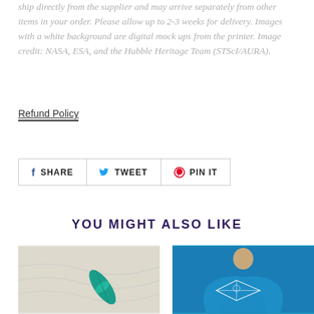ship directly from the supplier and may arrive separately from other items in your order. Please allow up to 2-3 weeks for delivery. Images with a white background are digital mock ups from the printer. Image credit: NASA, ESA, and the Hubble Heritage Team (STScI/AURA).
Refund Policy
SHARE  TWEET  PIN IT
YOU MIGHT ALSO LIKE
[Figure (photo): Product image showing a teal/green rolled item on a white fabric background]
[Figure (photo): Woman wearing a blue scarf/wrap with white line art design]